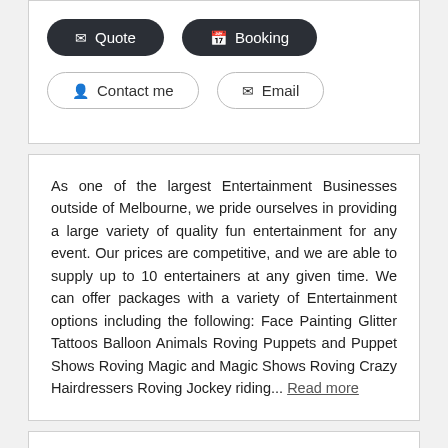Quote | Booking buttons (dark pill buttons)
Contact me | Email buttons (light outline pill buttons)
As one of the largest Entertainment Businesses outside of Melbourne, we pride ourselves in providing a large variety of quality fun entertainment for any event. Our prices are competitive, and we are able to supply up to 10 entertainers at any given time. We can offer packages with a variety of Entertainment options including the following: Face Painting Glitter Tattoos Balloon Animals Roving Puppets and Puppet Shows Roving Magic and Magic Shows Roving Crazy Hairdressers Roving Jockey riding... Read more
Power Audio
Equipment Hire > Sound & Audio Equipment Hire
[Figure (photo): Broken image placeholder with Line Array Systems link]